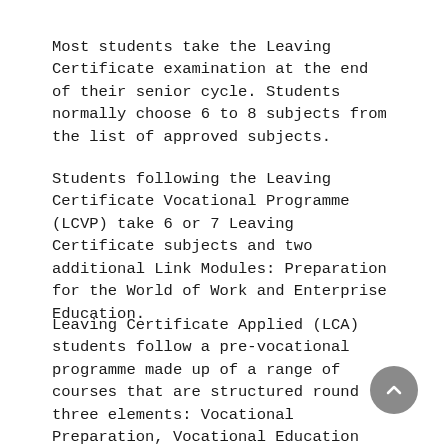Most students take the Leaving Certificate examination at the end of their senior cycle. Students normally choose 6 to 8 subjects from the list of approved subjects.
Students following the Leaving Certificate Vocational Programme (LCVP) take 6 or 7 Leaving Certificate subjects and two additional Link Modules: Preparation for the World of Work and Enterprise Education.
Leaving Certificate Applied (LCA) students follow a pre-vocational programme made up of a range of courses that are structured round three elements: Vocational Preparation, Vocational Education and General Education.